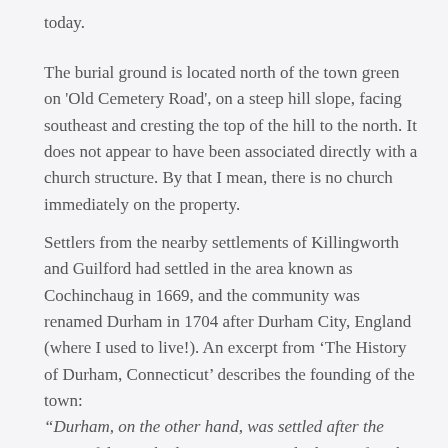today.
The burial ground is located north of the town green on 'Old Cemetery Road', on a steep hill slope, facing southeast and cresting the top of the hill to the north. It does not appear to have been associated directly with a church structure. By that I mean, there is no church immediately on the property.
Settlers from the nearby settlements of Killingworth and Guilford had settled in the area known as Cochinchaug in 1669, and the community was renamed Durham in 1704 after Durham City, England (where I used to live!). An excerpt from 'The History of Durham, Connecticut' describes the founding of the town:
“Durham, on the other hand, was settled after the spirit of dissent had, to some extent died out; after the jealousy of Ecclesiastical encroachment on the right of individuals Churches was somewhat weakened; after the controversies about Episcopal forms had passed by; after the evils of separatism, independency, and Church